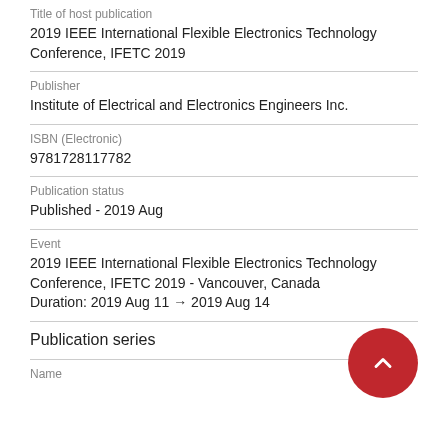Title of host publication
2019 IEEE International Flexible Electronics Technology Conference, IFETC 2019
Publisher
Institute of Electrical and Electronics Engineers Inc.
ISBN (Electronic)
9781728117782
Publication status
Published - 2019 Aug
Event
2019 IEEE International Flexible Electronics Technology Conference, IFETC 2019 - Vancouver, Canada
Duration: 2019 Aug 11 → 2019 Aug 14
Publication series
Name